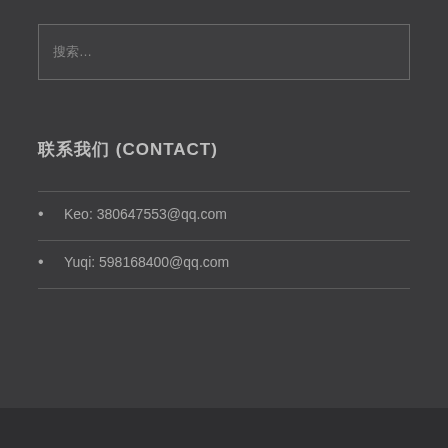搜索...
联系我们 (CONTACT)
Keo: 380647553@qq.com
Yuqi: 598168400@qq.com